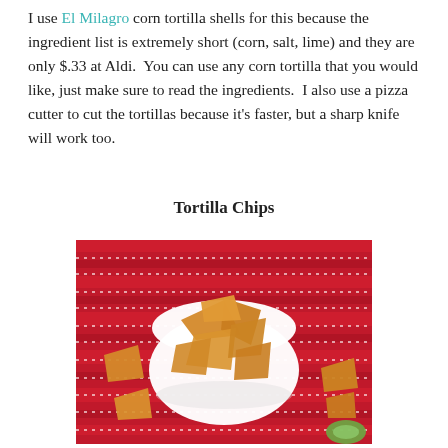I use El Milagro corn tortilla shells for this because the ingredient list is extremely short (corn, salt, lime) and they are only $.33 at Aldi.  You can use any corn tortilla that you would like, just make sure to read the ingredients.  I also use a pizza cutter to cut the tortillas because it's faster, but a sharp knife will work too.
Tortilla Chips
[Figure (photo): A white bowl filled with homemade tortilla chips on a red striped tablecloth, with additional chips scattered around the bowl and a piece of lime or avocado visible at the bottom right.]